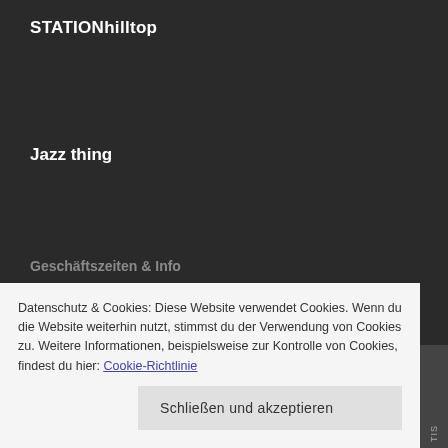STATIONhilltop
Jazz thing
Geschäftszeiten & Info
Heckenweg 10
D-53913 Swisttal
+49-(0)2254-8399538
faber@station-hilltop.com
Datenschutz & Cookies: Diese Website verwendet Cookies. Wenn du die Website weiterhin nutzt, stimmst du der Verwendung von Cookies zu. Weitere Informationen, beispielsweise zur Kontrolle von Cookies, findest du hier: Cookie-Richtlinie
Schließen und akzeptieren